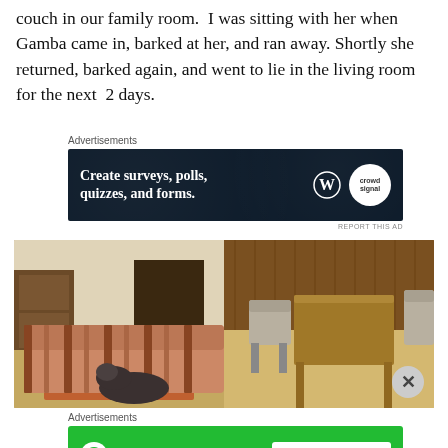couch in our family room.  I was sitting with her when Gamba came in, barked at her, and ran away. Shortly she returned, barked again, and went to lie in the living room for the next  2 days.
[Figure (screenshot): Advertisement banner: dark navy background with white text 'Create surveys, polls, quizzes, and forms.' with WordPress and Crowdsignal logos on right]
[Figure (photo): Photo of a living room with a colorful plaid couch and a dog lying on it, with wood furniture including chairs and a table visible on the right side]
[Figure (screenshot): Advertisement banner: green background with Jetpack logo on left and 'Secure Your Site' white button on right]